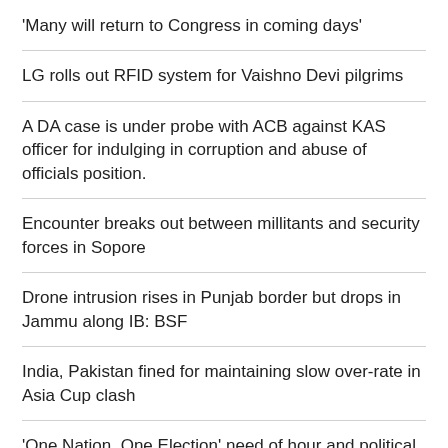'Many will return to Congress in coming days'
LG rolls out RFID system for Vaishno Devi pilgrims
A DA case is under probe with ACB against KAS officer for indulging in corruption and abuse of officials position.
Encounter breaks out between millitants and security forces in Sopore
Drone intrusion rises in Punjab border but drops in Jammu along IB: BSF
India, Pakistan fined for maintaining slow over-rate in Asia Cup clash
'One Nation, One Election' need of hour and political parties should not have a “prejudiced mindset” on the issue: Naqvi
Block Diwas held at Imamsahib